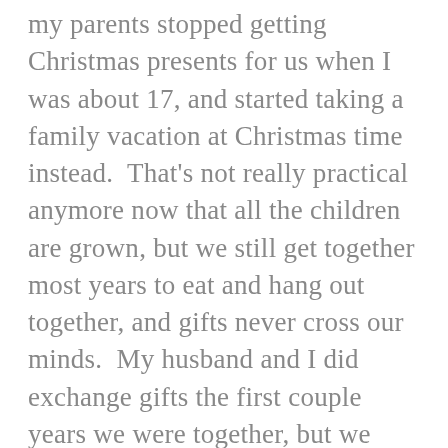my parents stopped getting Christmas presents for us when I was about 17, and started taking a family vacation at Christmas time instead.  That's not really practical anymore now that all the children are grown, but we still get together most years to eat and hang out together, and gifts never cross our minds.  My husband and I did exchange gifts the first couple years we were together, but we quickly decided that we didn't need a special holiday in order to give each other things, and abandoned the practice.  We have not given our son gifts for Christmas yet either, although he's only two (we may change that once he's in